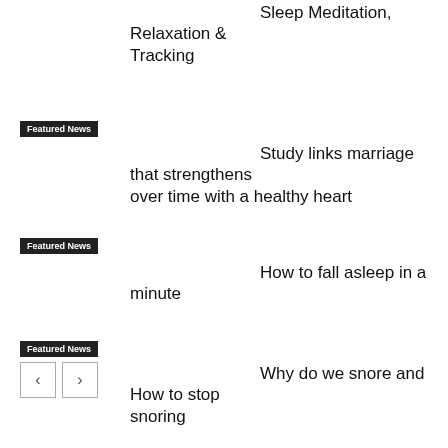Sleep Meditation, Relaxation & Tracking
Featured News
Study links marriage that strengthens over time with a healthy heart
Featured News
How to fall asleep in a minute
Featured News
Why do we snore and How to stop snoring